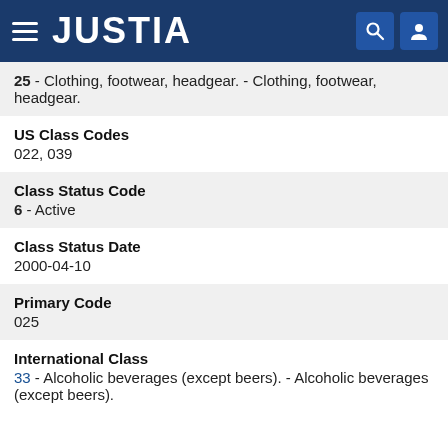JUSTIA
25 - Clothing, footwear, headgear. - Clothing, footwear, headgear.
US Class Codes
022, 039
Class Status Code
6 - Active
Class Status Date
2000-04-10
Primary Code
025
International Class
33 - Alcoholic beverages (except beers). - Alcoholic beverages (except beers).